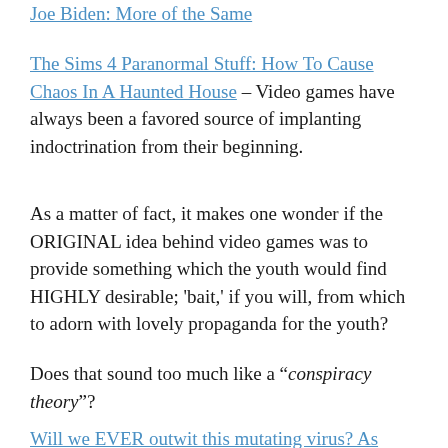Joe Biden: More of the Same
The Sims 4 Paranormal Stuff: How To Cause Chaos In A Haunted House – Video games have always been a favored source of implanting indoctrination from their beginning.
As a matter of fact, it makes one wonder if the ORIGINAL idea behind video games was to provide something which the youth would find HIGHLY desirable; 'bait,' if you will, from which to adorn with lovely propaganda for the youth?
Does that sound too much like a "conspiracy theory"?
Will we EVER outwit this mutating virus? As